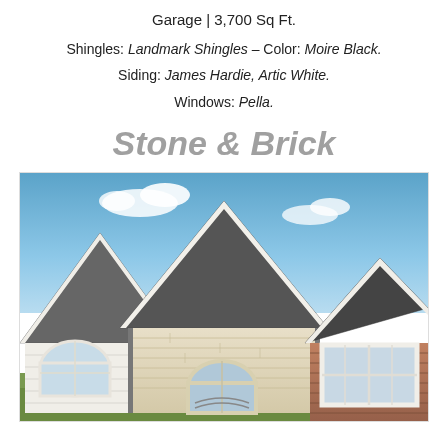Garage | 3,700 Sq Ft.
Shingles: Landmark Shingles – Color: Moire Black.
Siding: James Hardie, Artic White.
Windows: Pella.
Stone & Brick
[Figure (photo): Exterior photo of a house with stone and brick facade, multiple gabled rooflines with dark shingles, white trim, arched doorway, and windows with white frames against a partly cloudy blue sky.]